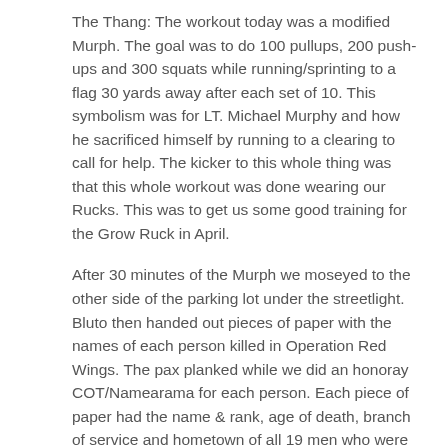The Thang: The workout today was a modified Murph. The goal was to do 100 pullups, 200 push-ups and 300 squats while running/sprinting to a flag 30 yards away after each set of 10. This symbolism was for LT. Michael Murphy and how he sacrificed himself by running to a clearing to call for help. The kicker to this whole thing was that this whole workout was done wearing our Rucks. This was to get us some good training for the Grow Ruck in April.
After 30 minutes of the Murph we moseyed to the other side of the parking lot under the streetlight. Bluto then handed out pieces of paper with the names of each person killed in Operation Red Wings. The pax planked while we did an honoray COT/Namearama for each person. Each piece of paper had the name & rank, age of death, branch of service and hometown of all 19 men who were killed.
We then proceeded to do namearama and counterama. Glitch was the 6 today and he told us how he was EH'd by Colonel and what F3 means to him. Bluto then started a new tradition that he hopes will continue. The 6(Glitch) was given a copy of the book “Seal of Honor”-The LT. Michael Murphy story. I told him to read all or as